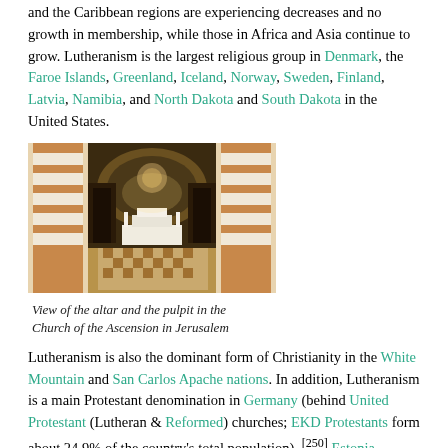and the Caribbean regions are experiencing decreases and no growth in membership, while those in Africa and Asia continue to grow. Lutheranism is the largest religious group in Denmark, the Faroe Islands, Greenland, Iceland, Norway, Sweden, Finland, Latvia, Namibia, and North Dakota and South Dakota in the United States.
[Figure (photo): Interior view of the altar and pulpit in the Church of the Ascension in Jerusalem, showing ornate arches with red and white striped columns, mosaic ceiling, and elaborate altar area.]
View of the altar and the pulpit in the Church of the Ascension in Jerusalem
Lutheranism is also the dominant form of Christianity in the White Mountain and San Carlos Apache nations. In addition, Lutheranism is a main Protestant denomination in Germany (behind United Protestant (Lutheran & Reformed) churches; EKD Protestants form about 24.9% of the country's total population), [250] Estonia, Poland, Austria, Slovakia, Slovenia, Croatia, Serbia...